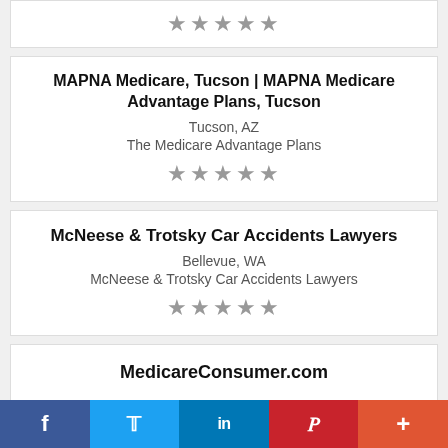★★★★★
MAPNA Medicare, Tucson | MAPNA Medicare Advantage Plans, Tucson
Tucson, AZ
The Medicare Advantage Plans
★★★★★
McNeese & Trotsky Car Accidents Lawyers
Bellevue, WA
McNeese & Trotsky Car Accidents Lawyers
★★★★★
MedicareConsumer.com
f  🐦  in  P  +